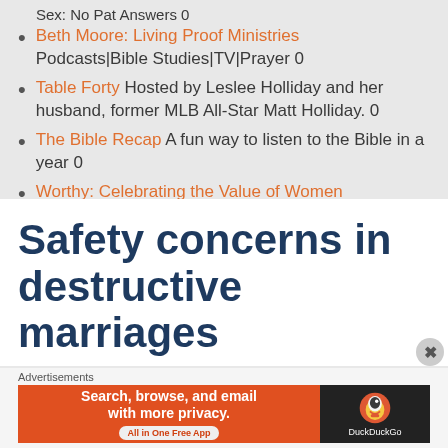Sex: No Pat Answers 0
Beth Moore: Living Proof Ministries Podcasts|Bible Studies|TV|Prayer 0
Table Forty Hosted by Leslee Holliday and her husband, former MLB All-Star Matt Holliday. 0
The Bible Recap A fun way to listen to the Bible in a year 0
Worthy: Celebrating the Value of Women Celebrates the value of women in the church, home, and society. 0
Safety concerns in destructive marriages
Advertisements
[Figure (other): DuckDuckGo advertisement banner: Search, browse, and email with more privacy. All in One Free App. DuckDuckGo logo on right.]